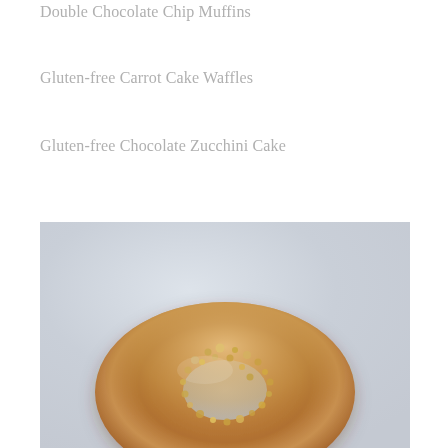Double Chocolate Chip Muffins
Gluten-free Carrot Cake Waffles
Gluten-free Chocolate Zucchini Cake
[Figure (photo): A glazed donut topped with crumbled nuts/streusel, photographed from above on a light gray background. The donut appears to have a caramel/peanut butter glaze with a crumbly topping.]